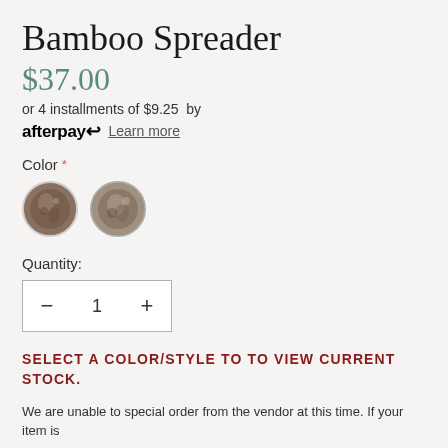Bamboo Spreader
$37.00
or 4 installments of $9.25  by
afterpay  Learn more
Color *
[Figure (illustration): Two circular color swatches showing bamboo/wood texture variants]
Quantity:
— 1 +
SELECT A COLOR/STYLE TO TO VIEW CURRENT STOCK.
We are unable to special order from the vendor at this time. If your item is